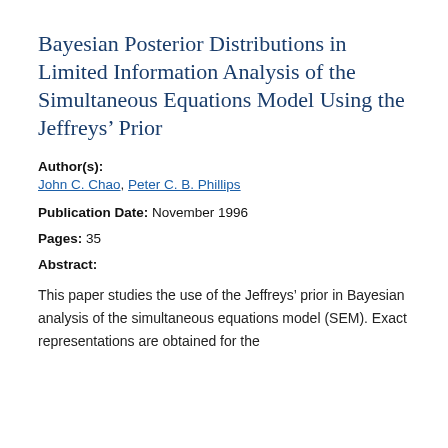Bayesian Posterior Distributions in Limited Information Analysis of the Simultaneous Equations Model Using the Jeffreys’ Prior
Author(s):
John C. Chao, Peter C. B. Phillips
Publication Date: November 1996
Pages: 35
Abstract:
This paper studies the use of the Jeffreys’ prior in Bayesian analysis of the simultaneous equations model (SEM). Exact representations are obtained for the